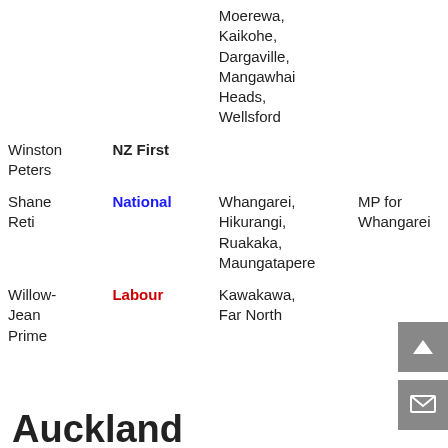| Name | Party | Places | Role |
| --- | --- | --- | --- |
|  |  | Moerewa, Kaikohe, Dargaville, Mangawhai Heads, Wellsford |  |
| Winston Peters | NZ First |  |  |
| Shane Reti | National | Whangarei, Hikurangi, Ruakaka, Maungatapere | MP for Whangarei |
| Willow-Jean Prime | Labour | Kawakawa, Far North |  |
Auckland